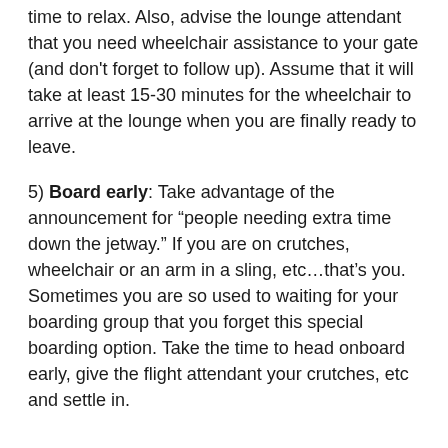time to relax. Also, advise the lounge attendant that you need wheelchair assistance to your gate (and don't forget to follow up). Assume that it will take at least 15-30 minutes for the wheelchair to arrive at the lounge when you are finally ready to leave.
5) Board early: Take advantage of the announcement for “people needing extra time down the jetway.” If you are on crutches, wheelchair or an arm in a sling, etc…that’s you. Sometimes you are so used to waiting for your boarding group that you forget this special boarding option. Take the time to head onboard early, give the flight attendant your crutches, etc and settle in.